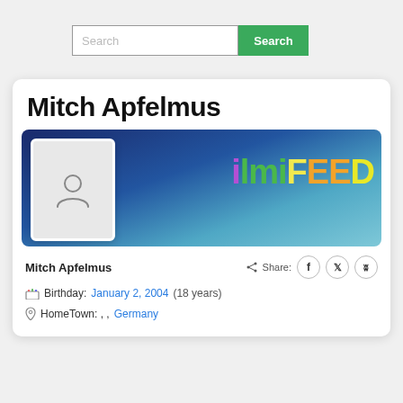[Figure (screenshot): Search bar with text input and green Search button]
Mitch Apfelmus
[Figure (photo): Profile banner with avatar placeholder icon and FilmiFeed logo text on blue background]
Mitch Apfelmus
Share: f twitter whatsapp
Birthday: January 2, 2004 (18 years)
HomeTown: , , Germany